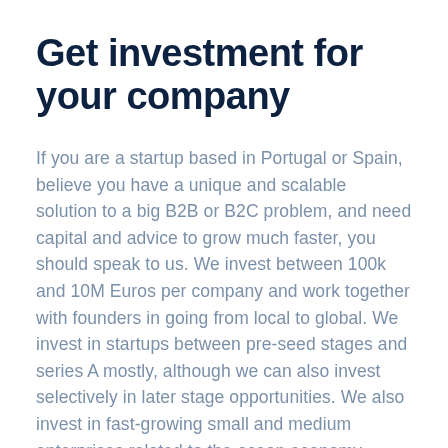Get investment for your company
If you are a startup based in Portugal or Spain, believe you have a unique and scalable solution to a big B2B or B2C problem, and need capital and advice to grow much faster, you should speak to us. We invest between 100k and 10M Euros per company and work together with founders in going from local to global. We invest in startups between pre-seed stages and series A mostly, although we can also invest selectively in later stage opportunities. We also invest in fast-growing small and medium enterprises related to the ocean economy. Since 2018 we have looked at over 2200